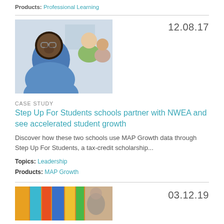Products: Professional Learning
[Figure (photo): Two students in a classroom, one wearing glasses looking down, another in a green hoodie seen from behind]
12.08.17
CASE STUDY
Step Up For Students schools partner with NWEA and see accelerated student growth
Discover how these two schools use MAP Growth data through Step Up For Students, a tax-credit scholarship...
Topics: Leadership
Products: MAP Growth
[Figure (photo): Colorful books on a shelf with a person visible in background]
03.12.19